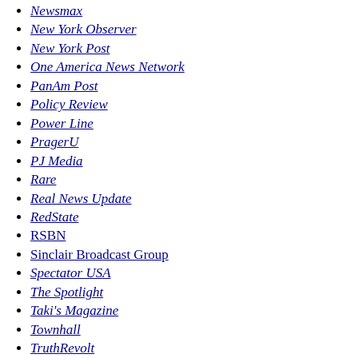Newsmax
New York Observer
New York Post
One America News Network
PanAm Post
Policy Review
Power Line
PragerU
PJ Media
Rare
Real News Update
RedState
RSBN
Sinclair Broadcast Group
Spectator USA
The Spotlight
Taki's Magazine
Townhall
TruthRevolt
Twitchy
The Wall Street Journal
Washington Examiner
The Washington Free Beacon
The Washington Times
The Weekly Standard